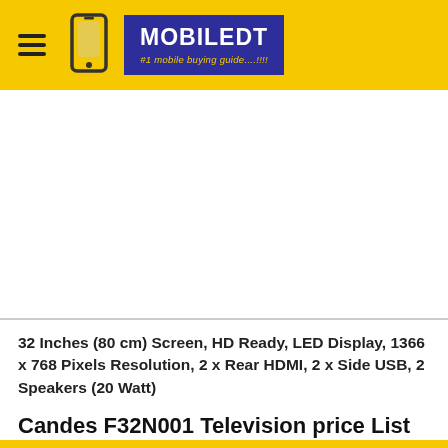MOBILEDT #1 mobile buying guide....!!!!
32 Inches (80 cm) Screen, HD Ready, LED Display, 1366 x 768 Pixels Resolution, 2 x Rear HDMI, 2 x Side USB, 2 Speakers (20 Watt)
Candes F32N001 Television price List